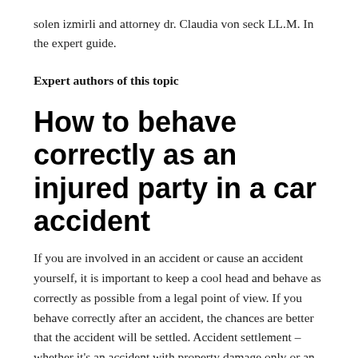solen izmirli and attorney dr. Claudia von seck LL.M. In the expert guide.
Expert authors of this topic
How to behave correctly as an injured party in a car accident
If you are involved in an accident or cause an accident yourself, it is important to keep a cool head and behave as correctly as possible from a legal point of view. If you behave correctly after an accident, the chances are better that the accident will be settled. Accident settlement – whether it's an accident with property damage only or an accident with (your own)